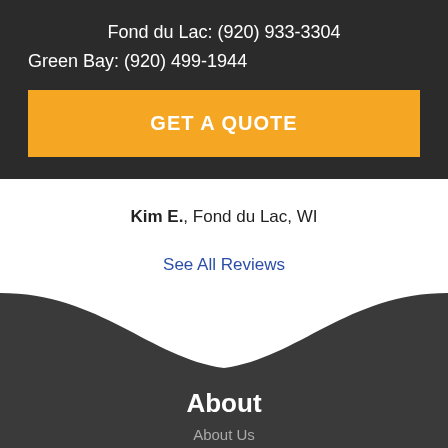Fond du Lac: (920) 933-3304
Green Bay: (920) 499-1944
GET A QUOTE
Kim E., Fond du Lac, WI
See All Reviews
About
About Us